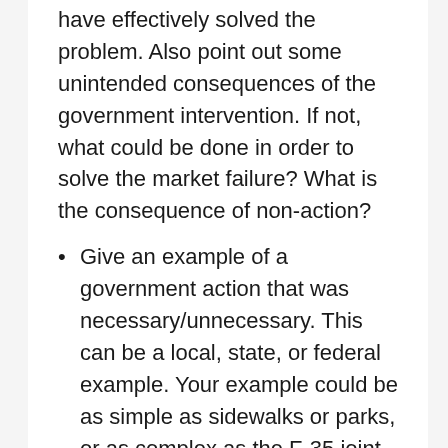have effectively solved the problem. Also point out some unintended consequences of the government intervention. If not, what could be done in order to solve the market failure? What is the consequence of non-action?
Give an example of a government action that was necessary/unnecessary. This can be a local, state, or federal example. Your example could be as simple as sidewalks or parks, or as complex as the F-35 joint strike fighter. Link your reasoning for the necessity of action based on the provision of public goods,